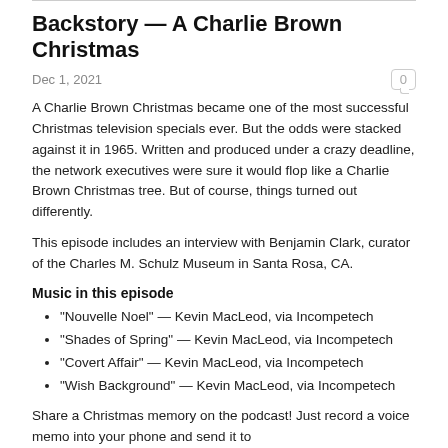Backstory — A Charlie Brown Christmas
Dec 1, 2021
A Charlie Brown Christmas became one of the most successful Christmas television specials ever. But the odds were stacked against it in 1965. Written and produced under a crazy deadline, the network executives were sure it would flop like a Charlie Brown Christmas tree. But of course, things turned out differently.
This episode includes an interview with Benjamin Clark, curator of the Charles M. Schulz Museum in Santa Rosa, CA.
Music in this episode
"Nouvelle Noel" — Kevin MacLeod, via Incompetech
"Shades of Spring" — Kevin MacLeod, via Incompetech
"Covert Affair" — Kevin MacLeod, via Incompetech
"Wish Background" — Kevin MacLeod, via Incompetech
Share a Christmas memory on the podcast! Just record a voice memo into your phone and send it to christmaspastpodcast@gmail.com. Keep it reasonably short, clean and family friendly, and be sure to say your name and where you're from.